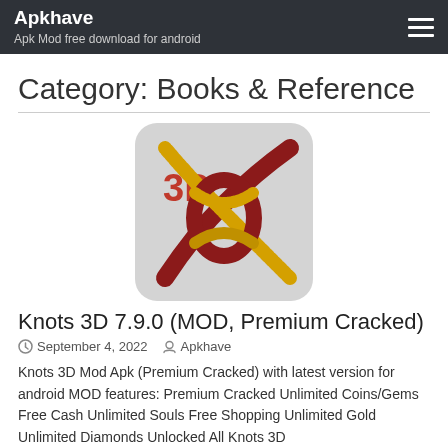Apkhave
Apk Mod free download for android
Category: Books & Reference
[Figure (illustration): App icon for Knots 3D showing a decorative rope knot on a light grey rounded-rectangle background with '3D' text in red]
Knots 3D 7.9.0 (MOD, Premium Cracked)
September 4, 2022   Apkhave
Knots 3D Mod Apk (Premium Cracked) with latest version for android MOD features: Premium Cracked Unlimited Coins/Gems Free Cash Unlimited Souls Free Shopping Unlimited Gold Unlimited Diamonds Unlocked All Knots 3D